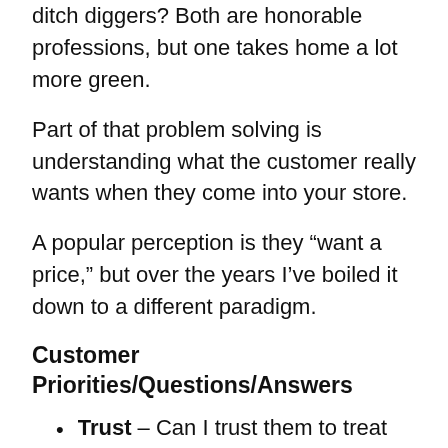ditch diggers? Both are honorable professions, but one takes home a lot more green.
Part of that problem solving is understanding what the customer really wants when they come into your store.
A popular perception is they “want a price,” but over the years I’ve boiled it down to a different paradigm.
Customer Priorities/Questions/Answers
Trust – Can I trust them to treat me fairly? (Reviews, Show and Tell, Being Respectful)
Knowledge – Do they know my car type? (Explain/show shop experience and background)
Why and Why will my car insurance go up? (Explain)